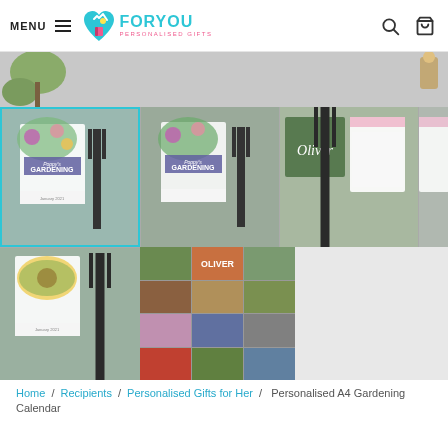MENU | FORYOU PERSONALISED GIFTS
[Figure (photo): E-commerce product page screenshot for a personalised A4 gardening calendar, showing a navigation bar with FORYOU PERSONALISED GIFTS logo, product image gallery with multiple thumbnails of the calendar in various scenes with garden tools and plants, breadcrumb navigation, and product title.]
Home / Recipients / Personalised Gifts for Her / Personalised A4 Gardening Calendar
Personalised A4 Gardening